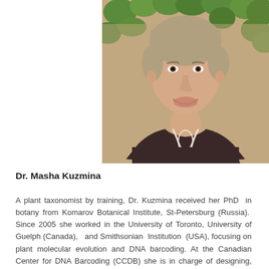[Figure (photo): Portrait photo of Dr. Masha Kuzmina, a woman with short light hair, smiling, wearing a dark brown blouse with white embroidery at the neckline, against a background of green ivy leaves on a brick wall.]
Dr. Masha Kuzmina
A plant taxonomist by training, Dr. Kuzmina received her PhD in botany from Komarov Botanical Institute, St-Petersburg (Russia). Since 2005 she worked in the University of Toronto, University of Guelph (Canada), and Smithsonian Institution (USA), focusing on plant molecular evolution and DNA barcoding. At the Canadian Center for DNA Barcoding (CCDB) she is in charge of designing, optimizing, and troubleshooting high throughput protocols for plants;